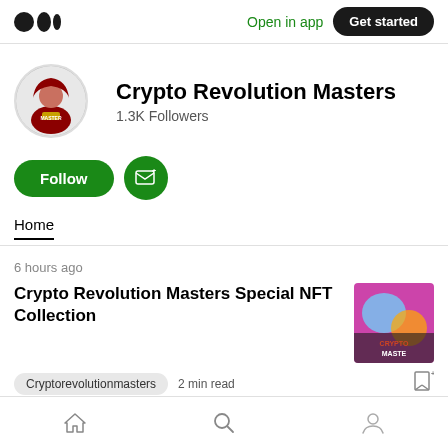Medium logo | Open in app | Get started
Crypto Revolution Masters
1.3K Followers
[Figure (illustration): Follow button (green pill) and Subscribe button (green circle with envelope icon)]
Home
6 hours ago
Crypto Revolution Masters Special NFT Collection
Cryptorevolutionmasters   2 min read
Home | Search | Profile navigation icons